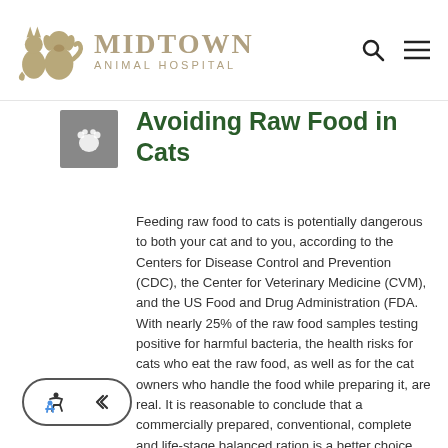[Figure (logo): Midtown Animal Hospital logo with dog and cat silhouettes in tan/khaki color alongside bold serif text MIDTOWN and smaller text ANIMAL HOSPITAL]
Avoiding Raw Food in Cats
Feeding raw food to cats is potentially dangerous to both your cat and to you, according to the Centers for Disease Control and Prevention (CDC), the Center for Veterinary Medicine (CVM), and the US Food and Drug Administration (FDA. With nearly 25% of the raw food samples testing positive for harmful bacteria, the health risks for cats who eat the raw food, as well as for the cat owners who handle the food while preparing it, are real. It is reasonable to conclude that a commercially prepared, conventional, complete and life-stage balanced ration is a better choice.